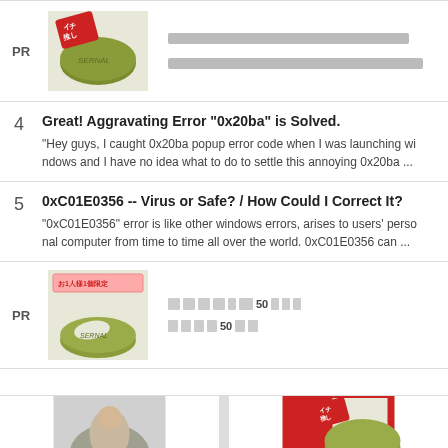[Figure (photo): PR advertisement block with green soap product image and Japanese text placeholder lines]
4
Great! Aggravating Error "0x20ba" is Solved.
"Hey guys, I caught 0x20ba popup error code when I was launching windows and I have no idea what to do to settle this annoying 0x20ba ...
5
0xC01E0356 -- Virus or Safe? / How Could I Correct It?
"0xC01E0356" error is like other windows errors, arises to users' personal computer from time to time all over the world. 0xC01E0356 can ...
[Figure (photo): PR advertisement block with green soap product image (one per household limited) and Japanese text]
[Figure (photo): Bottom strip showing partial thumbnail images including a person and a red advertisement]